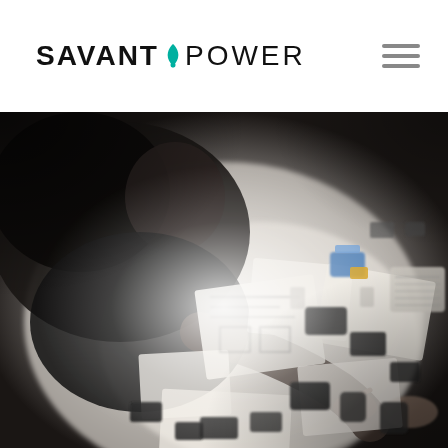SAVANT POWER
[Figure (photo): Overhead view of a person in a black shirt leaning over a table covered with electronic components, circuit boards, design sketches, prototypes, and small devices. The image has a bright, slightly overexposed center with darker edges, giving a blurred, candid editorial feel.]